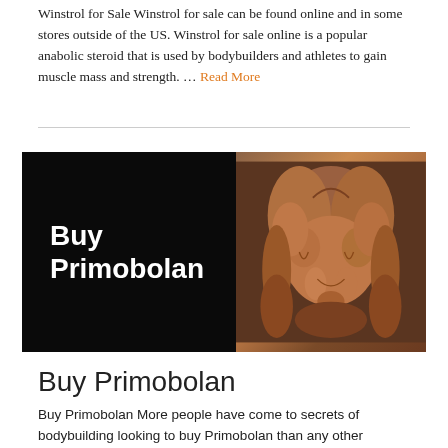Winstrol for Sale Winstrol for sale can be found online and in some stores outside of the US. Winstrol for sale online is a popular anabolic steroid that is used by bodybuilders and athletes to gain muscle mass and strength. … Read More
[Figure (photo): Promotional image for Buy Primobolan showing white bold text 'Buy Primobolan' on a black background on the left, and a muscular male torso on the right.]
Buy Primobolan
Buy Primobolan More people have come to secrets of bodybuilding looking to buy Primobolan than any other compound on the market. Primobolan is a popular anabolic